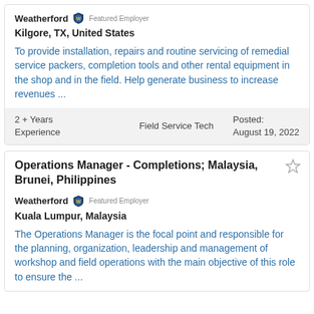Weatherford | Featured Employer
Kilgore, TX, United States
To provide installation, repairs and routine servicing of remedial service packers, completion tools and other rental equipment in the shop and in the field. Help generate business to increase revenues ...
2 + Years Experience | Field Service Tech | Posted: August 19, 2022
Operations Manager - Completions; Malaysia, Brunei, Philippines
Weatherford | Featured Employer
Kuala Lumpur, Malaysia
The Operations Manager is the focal point and responsible for the planning, organization, leadership and management of workshop and field operations with the main objective of this role to ensure the ...